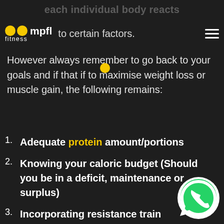oompfl fitness
each individual body reacts
to certain factors. However always remember to go back to your goals and if that if to maximise weight loss or muscle gain, the following remains:
Adequate protein amount/portions
Knowing your caloric budget (Should you be in a deficit, maintenance or surplus)
Incorporating resistance train...
[Figure (logo): WhatsApp logo icon bottom right]